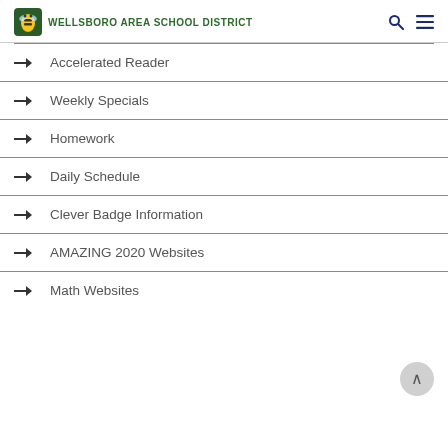Wellsboro Area School District
Accelerated Reader
Weekly Specials
Homework
Daily Schedule
Clever Badge Information
AMAZING 2020 Websites
Math Websites